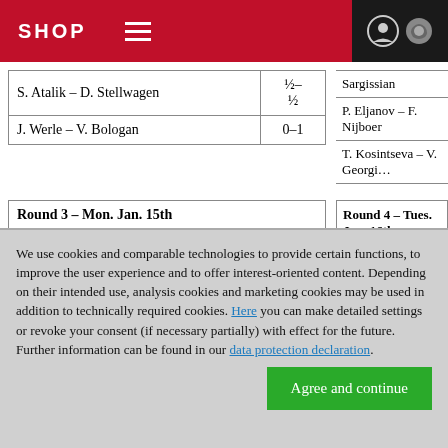SHOP
| Match | Score |
| --- | --- |
| S. Atalik – D. Stellwagen | ½–½ |
| J. Werle – V. Bologan | 0–1 |
| Match |
| --- |
| Sargissian |
| P. Eljanov – F. Nijboer |
| T. Kosintseva – V. Georgi… |
| Round 3 – Mon. Jan. 15th | Score |
| --- | --- |
| V. Georgiev – D. Jakovenko | 0–1 |
| F. Nijboer – T. Kosintseva | 1–0 |
| Round 4 – Tues. Jan. 16th |
| --- |
| D. Jakovenko – D. Stellwa… |
| E. L'Ami – V. Bologan |
We use cookies and comparable technologies to provide certain functions, to improve the user experience and to offer interest-oriented content. Depending on their intended use, analysis cookies and marketing cookies may be used in addition to technically required cookies. Here you can make detailed settings or revoke your consent (if necessary partially) with effect for the future. Further information can be found in our data protection declaration.